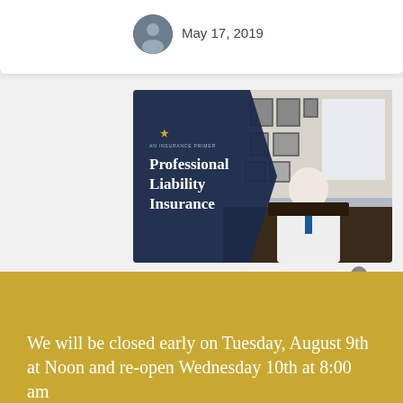May 17, 2019
[Figure (photo): Professional Liability Insurance promotional image showing a doctor in a white coat seated at a desk in an office with framed artwork on the walls. Overlaid with a dark navy triangle shape and white text reading 'Professional Liability Insurance'.]
We will be closed early on Tuesday, August 9th at Noon and re-open Wednesday 10th at 8:00 am